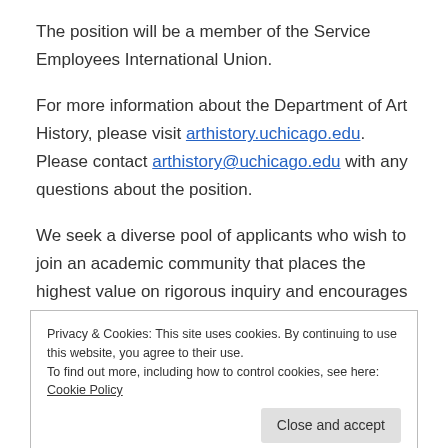The position will be a member of the Service Employees International Union.
For more information about the Department of Art History, please visit arthistory.uchicago.edu. Please contact arthistory@uchicago.edu with any questions about the position.
We seek a diverse pool of applicants who wish to join an academic community that places the highest value on rigorous inquiry and encourages diverse
Privacy & Cookies: This site uses cookies. By continuing to use this website, you agree to their use. To find out more, including how to control cookies, see here: Cookie Policy
at https://provost.uchicago.edu/statements-diversity.